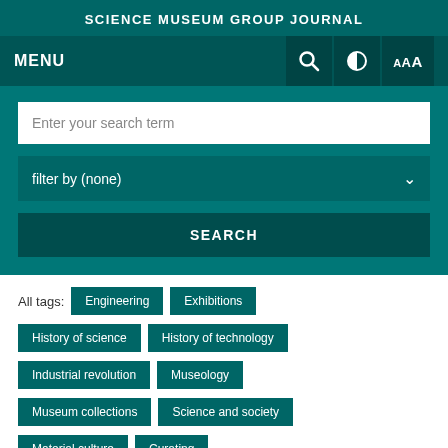SCIENCE MUSEUM GROUP JOURNAL
MENU
Enter your search term
filter by (none)
SEARCH
All tags: Engineering Exhibitions History of science History of technology Industrial revolution Museology Museum collections Science and society Material culture Curating History of medicine Science dialogue